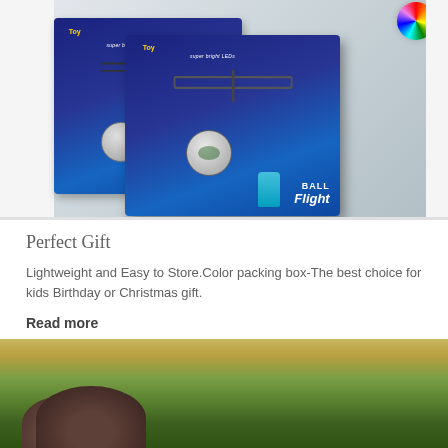[Figure (photo): Product photo showing two toy helicopter ball flight sets in blue packaging labeled 'super bright LEDs' and 'BALL Flight', with a colorful rainbow LED ball visible in the top right corner. The boxes are displayed on a light surface.]
Perfect Gift
Lightweight and Easy to Store.Color packing box-The best choice for kids Birthday or Christmas gift.
Read more
[Figure (photo): Photo of a child's head with brown hair outdoors against a leafy green and yellow background.]